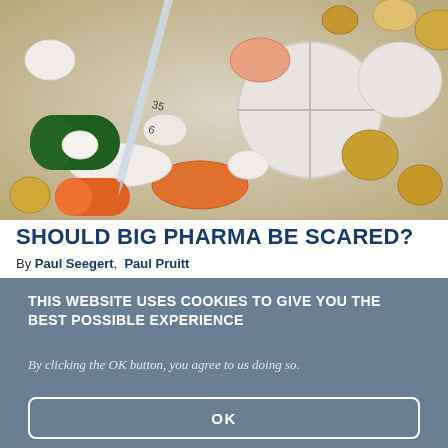[Figure (photo): A close-up photograph of assorted pills and capsules in various colors (white, orange, green, yellow, gold) with a syringe/thermometer visible among them.]
SHOULD BIG PHARMA BE SCARED?
By Paul Seegert,  Paul Pruitt
THIS WEBSITE USES COOKIES TO GIVE YOU THE BEST POSSIBLE EXPERIENCE
By clicking the OK button, you agree to us doing so.
OK